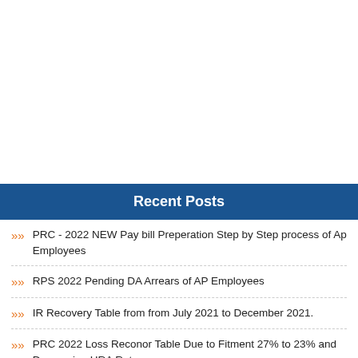Recent Posts
PRC - 2022 NEW Pay bill Preperation Step by Step process of Ap Employees
RPS 2022 Pending DA Arrears of AP Employees
IR Recovery Table from from July 2021 to December 2021.
PRC 2022 Loss Reconor Table Due to Fitment 27% to 23% and Decreasing HRA Rates
RPS 2022 New salary Slips to employees/Pensioners and pensioners from January 2022 month
AP DSC 2020